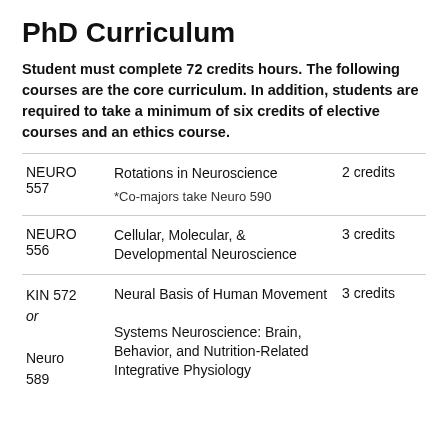PhD Curriculum
Student must complete 72 credits hours. The following courses are the core curriculum. In addition, students are required to take a minimum of six credits of elective courses and an ethics course.
| Course | Name | Credits |
| --- | --- | --- |
| NEURO 557 | Rotations in Neuroscience
*Co-majors take Neuro 590 | 2 credits |
| NEURO 556 | Cellular, Molecular, & Developmental Neuroscience | 3 credits |
| KIN 572
or
Neuro 589 | Neural Basis of Human Movement
Systems Neuroscience: Brain, Behavior, and Nutrition-Related Integrative Physiology | 3 credits |